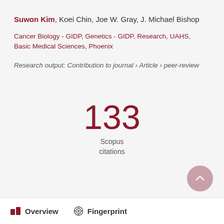Suwon Kim, Koei Chin, Joe W. Gray, J. Michael Bishop
Cancer Biology - GIDP, Genetics - GIDP, Research, UAHS, Basic Medical Sciences, Phoenix
Research output: Contribution to journal › Article › peer-review
133 Scopus citations
Overview   Fingerprint